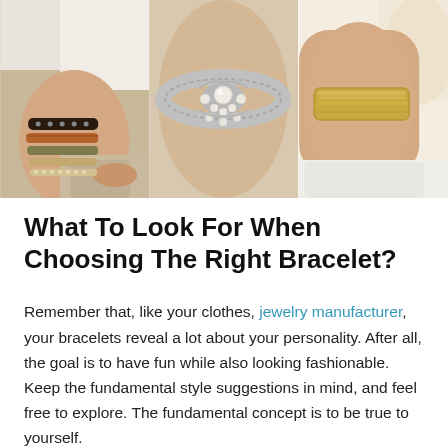[Figure (photo): Three photos side by side showing bracelets on wrists: left shows stacked leather and studded bracelets, center shows an ornate silver and pearl bracelet, right shows a gold cuff bracelet on an upper arm.]
What To Look For When Choosing The Right Bracelet?
Remember that, like your clothes, jewelry manufacturer, your bracelets reveal a lot about your personality. After all, the goal is to have fun while also looking fashionable. Keep the fundamental style suggestions in mind, and feel free to explore. The fundamental concept is to be true to yourself.